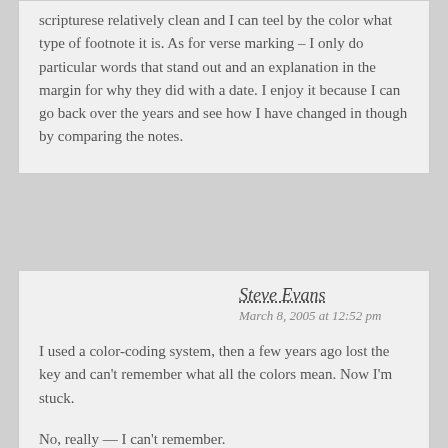scripturese relatively clean and I can teel by the color what type of footnote it is. As for verse marking – I only do particular words that stand out and an explanation in the margin for why they did with a date. I enjoy it because I can go back over the years and see how I have changed in though by comparing the notes.
Steve Evans
March 8, 2005 at 12:52 pm
I used a color-coding system, then a few years ago lost the key and can't remember what all the colors mean. Now I'm stuck.
No, really — I can't remember.